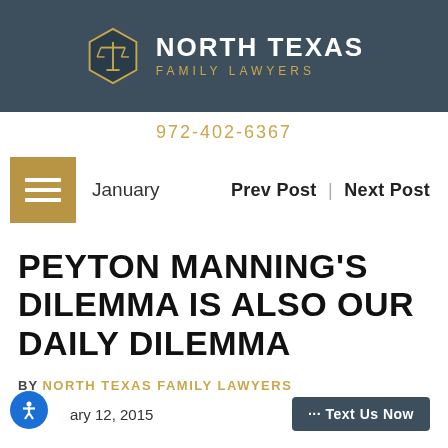[Figure (logo): North Texas Family Lawyers logo with hexagon emblem and scales of justice icon, white text on dark teal background]
972-402-6367
January   Prev Post  |  Next Post
PEYTON MANNING'S DILEMMA IS ALSO OUR DAILY DILEMMA
BY NORTH TEXAS FAMILY LAWYERS
January 12, 2015